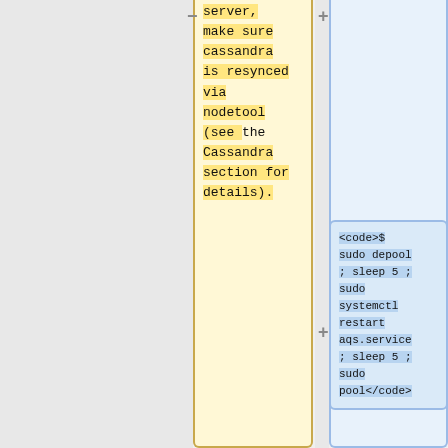server, make sure cassandra is resynced via nodetool (see the Cassandra section for details).
<code>$ sudo depool ; sleep 5 ; sudo systemctl restart aqs.service ; sleep 5 ; sudo pool</code>